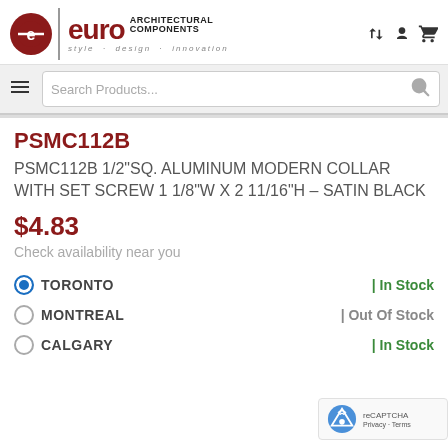[Figure (logo): Euro Architectural Components logo with red circle bearing E, bold red EURO text, tagline 'style · design · innovation', and header icons]
[Figure (screenshot): Search bar with hamburger menu icon and search input placeholder 'Search Products...']
PSMC112B
PSMC112B 1/2"SQ. ALUMINUM MODERN COLLAR WITH SET SCREW 1 1/8"W X 2 11/16"H – SATIN BLACK
$4.83
Check availability near you
| Location | Status |
| --- | --- |
| TORONTO | | In Stock |
| MONTREAL | | Out Of Stock |
| CALGARY | | In Stock |